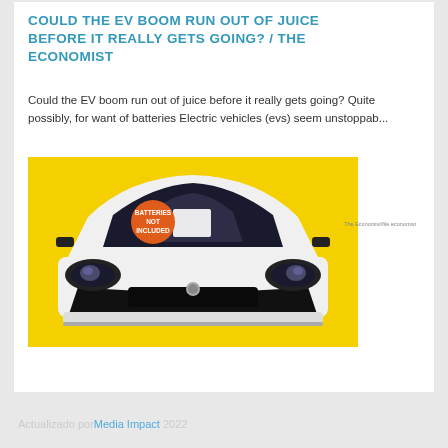COULD THE EV BOOM RUN OUT OF JUICE BEFORE IT REALLY GETS GOING? / THE ECONOMIST
Could the EV boom run out of juice before it really gets going? Quite possibly, for want of batteries Electric vehicles (evs) seem unstoppab...
[Figure (photo): White electric car with yellow background, with an orange circular sticker on the windshield that reads 'BATTERIES NOT INCLUDED'. The Economist magazine illustration.]
Actualizado por Media Impact 2022